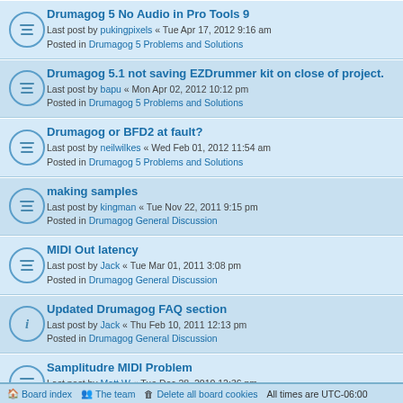Drumagog 5 No Audio in Pro Tools 9
Last post by pukingpixels « Tue Apr 17, 2012 9:16 am
Posted in Drumagog 5 Problems and Solutions
Drumagog 5.1 not saving EZDrummer kit on close of project.
Last post by bapu « Mon Apr 02, 2012 10:12 pm
Posted in Drumagog 5 Problems and Solutions
Drumagog or BFD2 at fault?
Last post by neilwilkes « Wed Feb 01, 2012 11:54 am
Posted in Drumagog 5 Problems and Solutions
making samples
Last post by kingman « Tue Nov 22, 2011 9:15 pm
Posted in Drumagog General Discussion
MIDI Out latency
Last post by Jack « Tue Mar 01, 2011 3:08 pm
Posted in Drumagog General Discussion
Updated Drumagog FAQ section
Last post by Jack « Thu Feb 10, 2011 12:13 pm
Posted in Drumagog General Discussion
Samplitudre MIDI Problem
Last post by Matt W « Tue Dec 28, 2010 12:36 pm
Posted in Drumagog 4 Problems and Solutions
Search found 168 matches  1 2 3 4 >
Jump to
Board index   The team   Delete all board cookies   All times are UTC-06:00